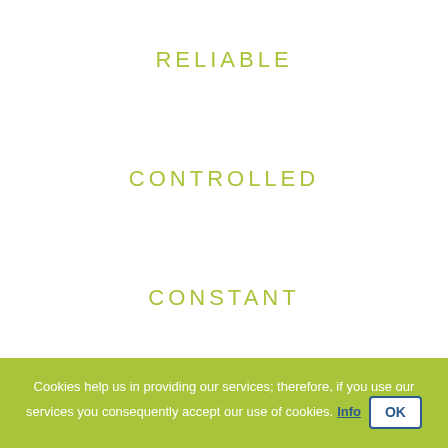RELIABLE
CONTROLLED
CONSTANT
Cookies help us in providing our services; therefore, if you use our services you consequently accept our use of cookies. Info OK